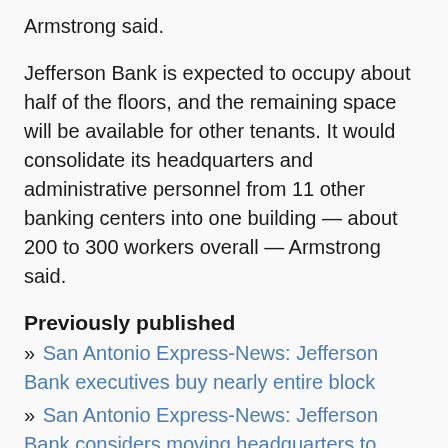Armstrong said.
Jefferson Bank is expected to occupy about half of the floors, and the remaining space will be available for other tenants. It would consolidate its headquarters and administrative personnel from 11 other banking centers into one building — about 200 to 300 workers overall — Armstrong said.
Previously published
» San Antonio Express-News: Jefferson Bank executives buy nearly entire block
» San Antonio Express-News: Jefferson Bank considers moving headquarters to Broadway by Pearl
» San Antonio Express-News: Development vs.